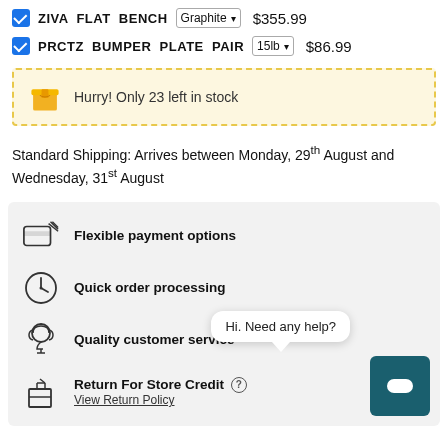ZIVA FLAT BENCH  Graphite  $355.99
PRCTZ BUMPER PLATE PAIR  15lb  $86.99
Hurry! Only 23 left in stock
Standard Shipping: Arrives between Monday, 29th August and Wednesday, 31st August
[Figure (infographic): Icons for Flexible payment options, Quick order processing, Quality customer service, Return For Store Credit with View Return Policy link]
Hi. Need any help?